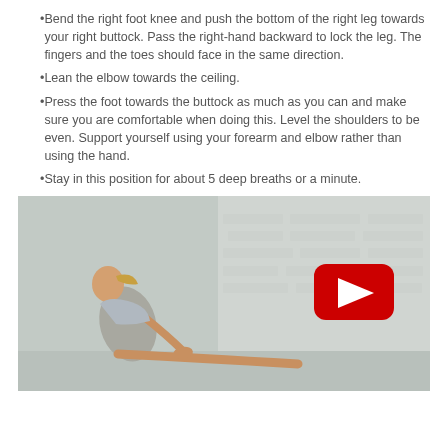Bend the right foot knee and push the bottom of the right leg towards your right buttock. Pass the right-hand backward to lock the leg. The fingers and the toes should face in the same direction.
Lean the elbow towards the ceiling.
Press the foot towards the buttock as much as you can and make sure you are comfortable when doing this. Level the shoulders to be even. Support yourself using your forearm and elbow rather than using the hand.
Stay in this position for about 5 deep breaths or a minute.
[Figure (screenshot): Video thumbnail showing a woman performing a yoga/stretching pose on a floor, with a YouTube play button overlay in the center. White brick wall background.]